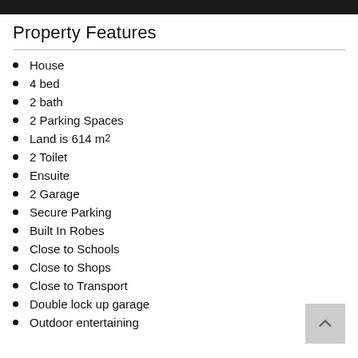Property Features
House
4 bed
2 bath
2 Parking Spaces
Land is 614 m²
2 Toilet
Ensuite
2 Garage
Secure Parking
Built In Robes
Close to Schools
Close to Shops
Close to Transport
Double lock up garage
Outdoor entertaining